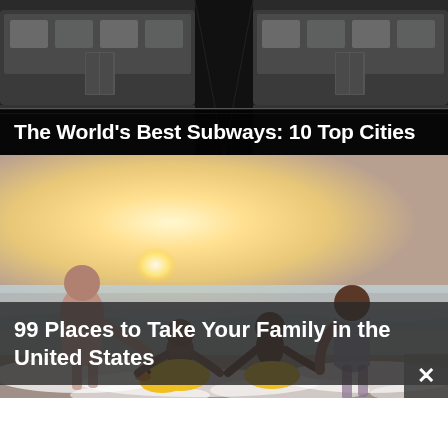[Figure (photo): Subway station with train cars visible from platform perspective, dark industrial setting]
The World's Best Subways: 10 Top Cities
[Figure (photo): Family of four (two adults, two children) holding hands and wading in ocean waves at beach, children wearing yellow duck inflatable rings, backlit by sunset]
99 Places to Take Your Family in the United States